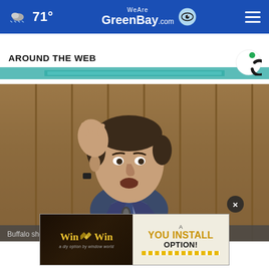71° WeAreGreenBay.com
[Figure (photo): Ad banner strip in teal color]
AROUND THE WEB
[Figure (logo): Outbrain logo (circular C-shaped logo in green and black)]
[Figure (photo): Man in suit gesturing with hand raised, speaking at a microphone at what appears to be a congressional hearing]
[Figure (advertisement): Win Win advertisement: A YOU INSTALL OPTION! with measuring tape graphic]
Buffalo shooting pushes 'great replacement